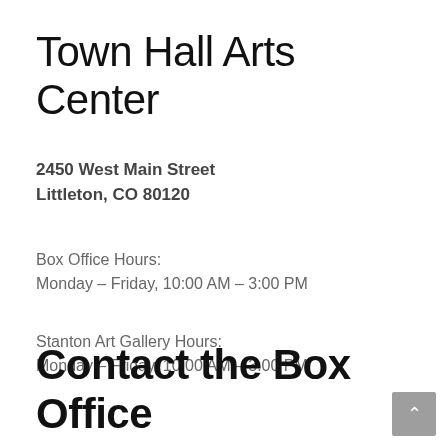Town Hall Arts Center
2450 West Main Street
Littleton, CO 80120
Box Office Hours:
Monday – Friday, 10:00 AM – 3:00 PM
Stanton Art Gallery Hours:
Monday – Friday, 10:00 AM – 3:00 PM
Contact the Box Office